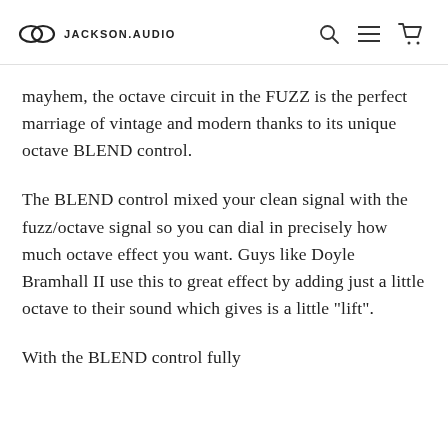JACKSON.AUDIO
mayhem, the octave circuit in the FUZZ is the perfect marriage of vintage and modern thanks to its unique octave BLEND control.
The BLEND control mixed your clean signal with the fuzz/octave signal so you can dial in precisely how much octave effect you want. Guys like Doyle Bramhall II use this to great effect by adding just a little octave to their sound which gives is a little "lift".
With the BLEND control fully